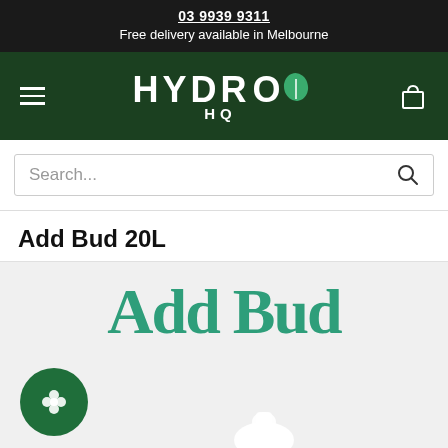03 9939 9311
Free delivery available in Melbourne
[Figure (logo): HYDRO HQ logo with green leaf icon on dark green background, with hamburger menu and cart icon]
Search...
Add Bud 20L
[Figure (photo): Add Bud product image showing teal colored 'Add Bud' text branding, a green circular badge with flower icon, and a white bottle]